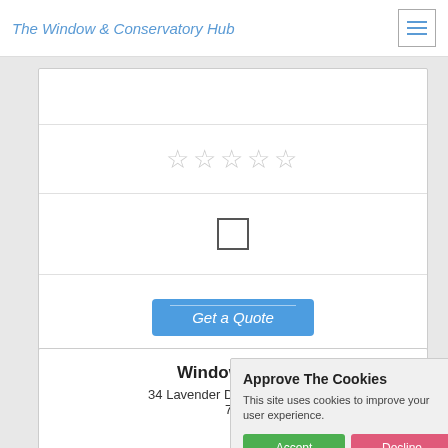The Window & Conservatory Hub
[Figure (screenshot): Star rating widget showing 5 empty/grey stars]
[Figure (screenshot): Checkbox (unchecked)]
[Figure (screenshot): Get a Quote button (blue, italic text)]
Windows of C…
34 Lavender Drive, Rudheath…
7E…
[Figure (screenshot): Approve The Cookies dialog: 'This site uses cookies to improve your user experience.' with Accept (green) and Decline (pink) buttons and Cookie policy link]